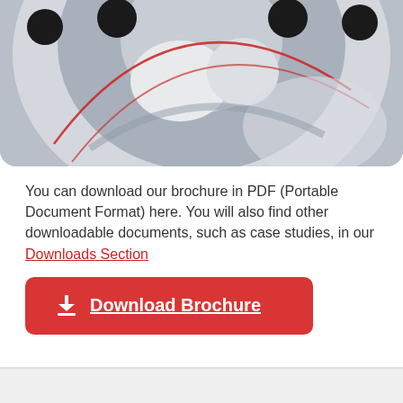[Figure (photo): Close-up photo of a precision machined metal part (crankshaft or rotary mechanism) with red laser/measurement overlay lines visible on polished silver metal surfaces with black bolt holes.]
You can download our brochure in PDF (Portable Document Format) here. You will also find other downloadable documents, such as case studies, in our Downloads Section
Download Brochure
[Figure (logo): Dormor Machine & Engineering Co. Ltd logo — red swirl/fan icon on the left, with company name in grey-blue text on the right on a light grey background.]